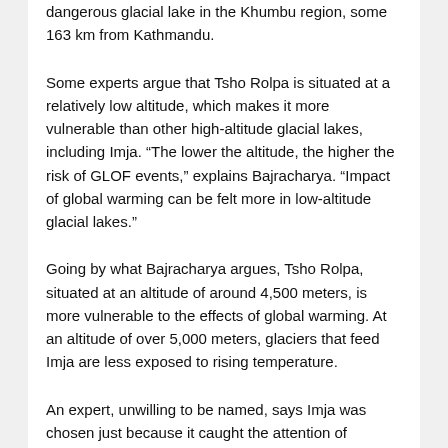dangerous glacial lake in the Khumbu region, some 163 km from Kathmandu.
Some experts argue that Tsho Rolpa is situated at a relatively low altitude, which makes it more vulnerable than other high-altitude glacial lakes, including Imja. “The lower the altitude, the higher the risk of GLOF events,” explains Bajracharya. “Impact of global warming can be felt more in low-altitude glacial lakes.”
Going by what Bajracharya argues, Tsho Rolpa, situated at an altitude of around 4,500 meters, is more vulnerable to the effects of global warming. At an altitude of over 5,000 meters, glaciers that feed Imja are less exposed to rising temperature.
An expert, unwilling to be named, says Imja was chosen just because it caught the attention of national and international mountaineers. “Imja is in close proximity to climbing and trekking routes in the Khumbu region. Therefore, many people see melting glaciers there,” says